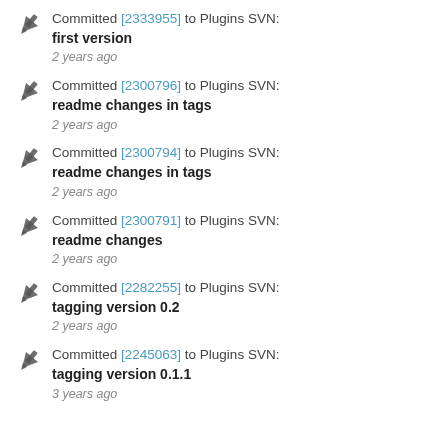Committed [2333955] to Plugins SVN: first version
2 years ago
Committed [2300796] to Plugins SVN: readme changes in tags
2 years ago
Committed [2300794] to Plugins SVN: readme changes in tags
2 years ago
Committed [2300791] to Plugins SVN: readme changes
2 years ago
Committed [2282255] to Plugins SVN: tagging version 0.2
2 years ago
Committed [2245063] to Plugins SVN: tagging version 0.1.1
3 years ago